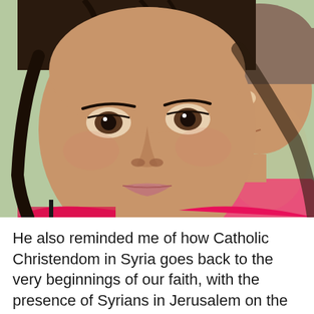[Figure (photo): Close-up photograph of two children — a girl in the foreground wearing a pink top, with dark hair and brown eyes looking directly at the camera, and a second child partially visible behind her to the right.]
He also reminded me of how Catholic Christendom in Syria goes back to the very beginnings of our faith, with the presence of Syrians in Jerusalem on the first Pentecost Day